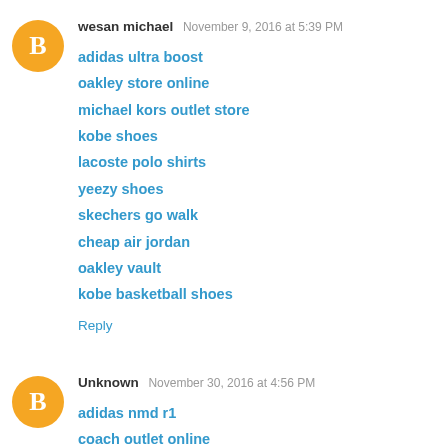wesan michael  November 9, 2016 at 5:39 PM
adidas ultra boost
oakley store online
michael kors outlet store
kobe shoes
lacoste polo shirts
yeezy shoes
skechers go walk
cheap air jordan
oakley vault
kobe basketball shoes
Reply
Unknown  November 30, 2016 at 4:56 PM
adidas nmd r1
coach outlet online
nike air force
ugg boots sale
louis vuitton factory outlet
ugg canada